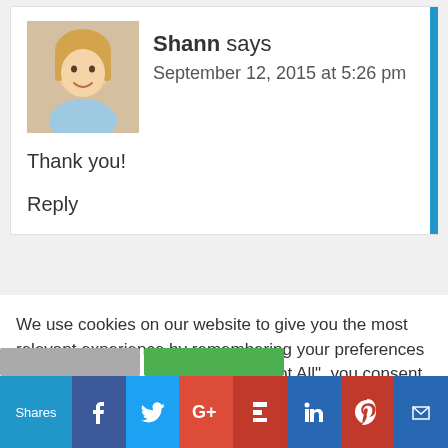Shann says
September 12, 2015 at 5:26 pm
Thank you!
Reply
We use cookies on our website to give you the most relevant experience by remembering your preferences and repeat visits. By clicking "Accept All", you consent to the use of ALL the cookies. However, you may visit "Cookie Settings" to provide a controlled consent.
[Figure (infographic): Social share bar with icons for Facebook, Twitter, Google+, Flipboard, LinkedIn, Pinterest, and email/other. Shows 'Shares' label on left.]